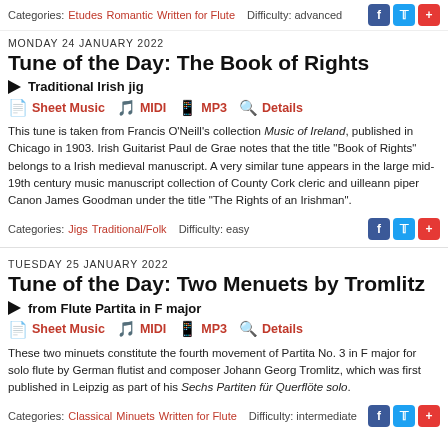Categories: Etudes Romantic Written for Flute Difficulty: advanced
MONDAY 24 JANUARY 2022
Tune of the Day: The Book of Rights
Traditional Irish jig
Sheet Music MIDI MP3 Details
This tune is taken from Francis O'Neill's collection Music of Ireland, published in Chicago in 1903. Irish Guitarist Paul de Grae notes that the title "Book of Rights" belongs to a Irish medieval manuscript. A very similar tune appears in the large mid-19th century music manuscript collection of County Cork cleric and uilleann piper Canon James Goodman under the title "The Rights of an Irishman".
Categories: Jigs Traditional/Folk Difficulty: easy
TUESDAY 25 JANUARY 2022
Tune of the Day: Two Menuets by Tromlitz
from Flute Partita in F major
Sheet Music MIDI MP3 Details
These two minuets constitute the fourth movement of Partita No. 3 in F major for solo flute by German flutist and composer Johann Georg Tromlitz, which was first published in Leipzig as part of his Sechs Partiten für Querflöte solo.
Categories: Classical Minuets Written for Flute Difficulty: intermediate